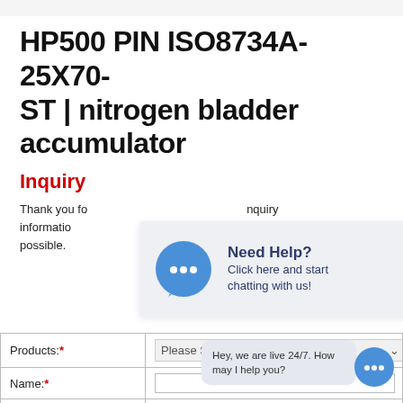HP500 PIN ISO8734A-25X70-ST | nitrogen bladder accumulator
Inquiry
Thank you for your inquiry information possible.
[Figure (screenshot): Chat popup overlay with blue speech bubble icon, 'Need Help?' heading, and 'Click here and start chatting with us!' subtext on a light grey background.]
| Products:* | Please Select! |
| --- | --- |
| Name:* |  |
| Email:* |  |
| Phone:* |  |
[Figure (screenshot): Small blue chat bubble icon at bottom right with tooltip saying 'Hey, we are live 24/7. How may I help you?']